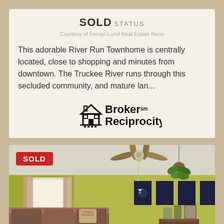SOLD STATUS
Courtesy of Ferrari-Lund Real Estate Reno
This adorable River Run Townhome is centrally located, close to shopping and minutes from downtown. The Truckee River runs through this secluded community, and mature lan...
[Figure (logo): Broker Reciprocity logo with house icon]
[Figure (photo): Interior photo of a living room with yellow-green walls, ceiling fan, curtained window, couch, hanging plant, and framed art posters. A red SOLD badge overlays the top-left corner.]